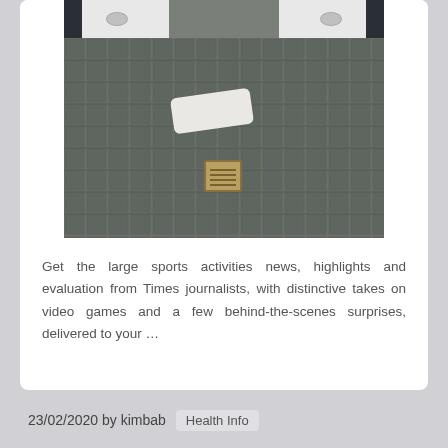[Figure (photo): Top-down view of a locker room or gym shower area floor with dark grey stone/slate tiles, two white shower bases visible at the top, dark curtains on either side, a white towel on the floor, and a metal floor drain in the center-bottom area.]
Get the large sports activities news, highlights and evaluation from Times journalists, with distinctive takes on video games and a few behind-the-scenes surprises, delivered to your …
23/02/2020 by kimbab   Health Info